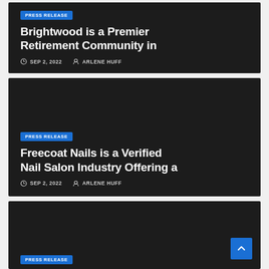[Figure (screenshot): Dark card with PRESS RELEASE badge, title 'Brightwood is a Premier Retirement Community in', date SEP 2, 2022, author ARLENE HUFF]
[Figure (screenshot): Dark card with PRESS RELEASE badge, title 'Freecoat Nails is a Verified Nail Salon Industry Offering a', date SEP 2, 2022, author ARLENE HUFF]
[Figure (screenshot): Dark card with PRESS RELEASE badge at bottom, partially visible third card]